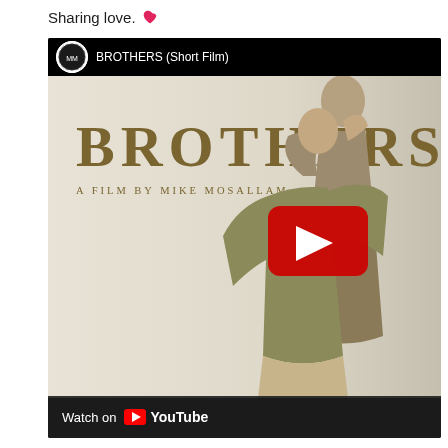Sharing love. ❤️
[Figure (screenshot): YouTube video thumbnail for 'BROTHERS (Short Film)' — a film by Mike Mosallam. Shows two people in an embrace against a light background, with the word BROTHERS in large gold serif letters and a YouTube play button overlay. Bottom bar shows 'Watch on YouTube'.]